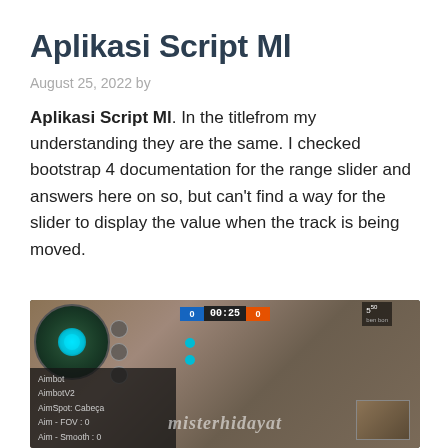Aplikasi Script Ml
August 25, 2022 by
Aplikasi Script Ml. In the titlefrom my understanding they are the same. I checked bootstrap 4 documentation for the range slider and answers here on so, but can't find a way for the slider to display the value when the track is being moved.
[Figure (screenshot): Screenshot of a mobile game (likely Call of Duty Mobile or similar) showing a game interface with minimap, HUD timer showing 00:25, cheat menu panel on lower left with options: Aimbot, AimbotV2, AimSpot: Cabeça, Aim-FOV: 0, Aim-Smooth: 0, and a watermark 'misterhidayat' overlaid on the image.]